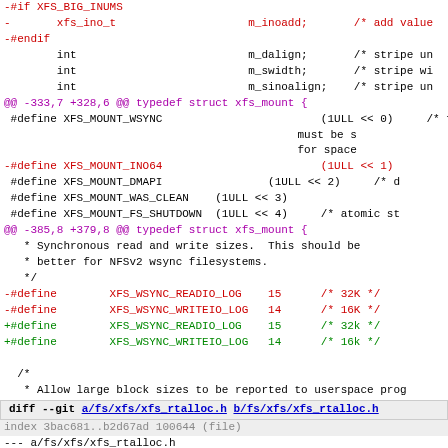diff code fragment showing XFS filesystem changes including xfs_mount struct definitions and xfs_rtalloc.h diff
-#if XFS_BIG_INUMS
-       xfs_ino_t                    m_inoadd;       /* add value
-#endif
        int                          m_dalign;       /* stripe un
        int                          m_swidth;       /* stripe wi
        int                          m_sinoalign;    /* stripe un
@@ -333,7 +328,6 @@ typedef struct xfs_mount {
#define XFS_MOUNT_WSYNC                        (1ULL << 0)     /* f
                                                        must be s
                                                        for space
-#define XFS_MOUNT_INO64                        (1ULL << 1)
 #define XFS_MOUNT_DMAPI                (1ULL << 2)     /* d
 #define XFS_MOUNT_WAS_CLEAN    (1ULL << 3)
 #define XFS_MOUNT_FS_SHUTDOWN  (1ULL << 4)     /* atomic st
@@ -385,8 +379,8 @@ typedef struct xfs_mount {
* Synchronous read and write sizes.  This should be
  * better for NFSv2 wsync filesystems.
  */
-#define        XFS_WSYNC_READIO_LOG    15      /* 32K */
-#define        XFS_WSYNC_WRITEIO_LOG   14      /* 16K */
+#define        XFS_WSYNC_READIO_LOG    15      /* 32k */
+#define        XFS_WSYNC_WRITEIO_LOG   14      /* 16k */
/*
   * Allow large block sizes to be reported to userspace prog
diff --git a/fs/xfs/xfs_rtalloc.h b/fs/xfs/xfs_rtalloc.h
index 3bac681..b2d67ad 100644 (file)
--- a/fs/xfs/xfs_rtalloc.h
+++ b/fs/xfs/xfs_rtalloc.h
@@ -23,8 +23,8 @@ struct xfs_trans;